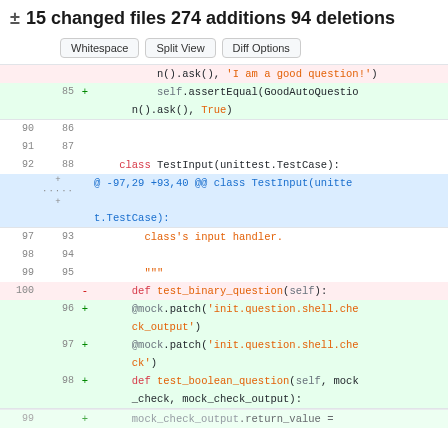± 15 changed files 274 additions 94 deletions
Whitespace | Split View | Diff Options
[Figure (screenshot): Git diff view showing code changes in a Python test file. Lines 85-100 shown with additions (green) and deletions (red). Shows changes including test_binary_question deletion and test_boolean_question addition with mock.patch decorators.]